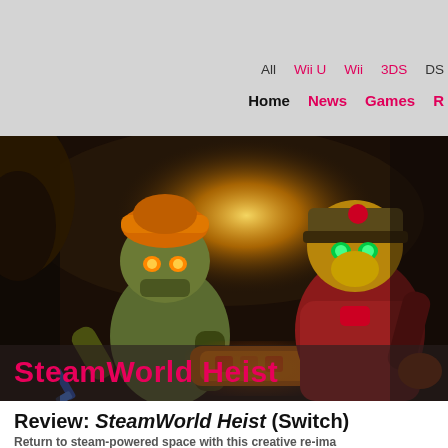All  Wii U  Wii  3DS  DS  |  Home  News  Games  R...
[Figure (illustration): SteamWorld Heist video game promotional art showing two steampunk robot characters — one with an orange beanie hat holding a pistol, one in a military-style uniform with glowing eyes holding a large cannon — set in a dark rocky environment with explosion light in the background.]
SteamWorld Heist
Review: SteamWorld Heist (Switch)
Return to steam-powered space with this creative re-ima...